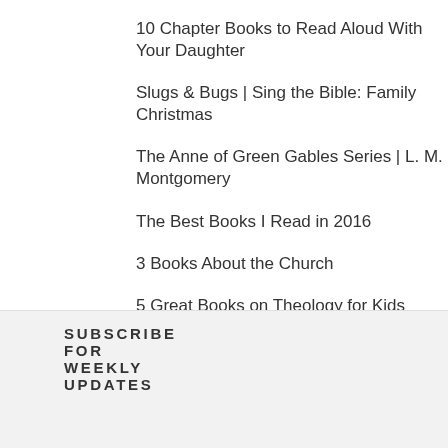10 Chapter Books to Read Aloud With Your Daughter
Slugs & Bugs | Sing the Bible: Family Christmas
The Anne of Green Gables Series | L. M. Montgomery
The Best Books I Read in 2016
3 Books About the Church
5 Great Books on Theology for Kids
Where the Mountain Meets the Moon Trilogy | Grace Lin
10 Books About God for Toddlers
Last Stop on Market Street | Matt De La Pena
SUBSCRIBE FOR WEEKLY UPDATES